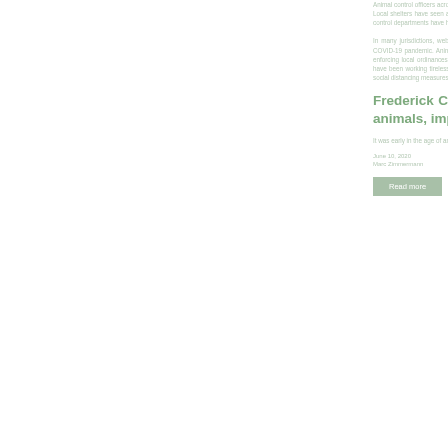Animal control officers across the state have been working to ensure the safety and well-being of animals during the pandemic. Local shelters have seen an increase in the number of animals being surrendered as owners face financial hardships.
In many jurisdictions, web-based filing and filing systems have been put in place to accommodate the public during the COVID-19 pandemic. Animal control officers have been busy picking up stray animals, investigating cruelty complaints, and enforcing local ordinances. The increase in surrenders and strays has put a strain on local shelters.
Frederick County Animal Control continues to soak up animals, implement changes amid COVID-19
It was early in the age of animal control officers and their jurisdiction was still...
June 10, 2020
Marc Zimmermann